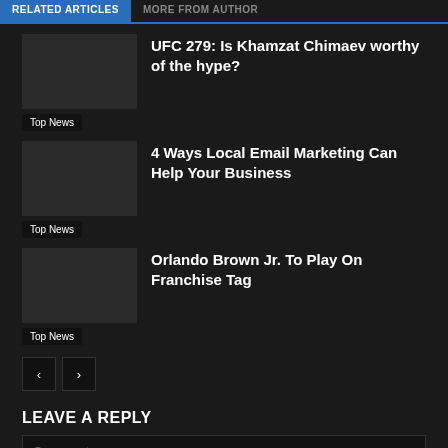RELATED ARTICLES | MORE FROM AUTHOR
UFC 279: Is Khamzat Chimaev worthy of the hype?
Top News
4 Ways Local Email Marketing Can Help Your Business
Top News
Orlando Brown Jr. To Play On Franchise Tag
Top News
LEAVE A REPLY
Comment: